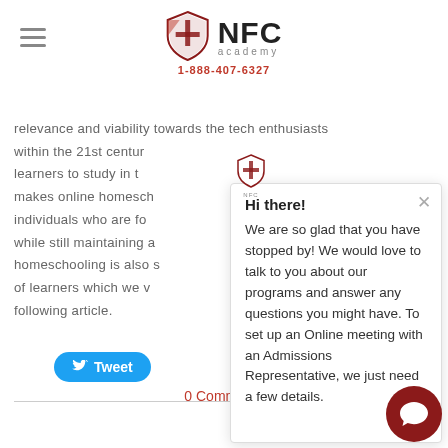NFC Academy 1-888-407-6327
relevance and viability towards the tech enthusiasts within the 21st centur... learners to study in t... makes online homesch... individuals who are fo... while still maintaining a... homeschooling is also s... of learners which we v... following article.
Hi there! We are so glad that you have stopped by! We would love to talk to you about our programs and answer any questions you might have. To set up an Online meeting with an Admissions Representative, we just need a few details.
Tweet
0 Comments